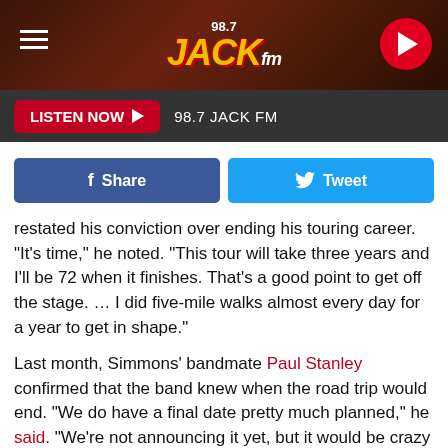[Figure (screenshot): 98.7 JACK FM radio station website header banner with dark reddish-brown rocky background texture]
98.7 JACK FM — LISTEN NOW
[Figure (screenshot): Facebook Share button and Twitter Tweet button social sharing row]
restated his conviction over ending his touring career. "It's time," he noted. "This tour will take three years and I'll be 72 when it finishes. That's a good point to get off the stage. … I did five-mile walks almost every day for a year to get in shape."
Last month, Simmons' bandmate Paul Stanley confirmed that the band knew when the road trip would end. "We do have a final date pretty much planned," he said. "We're not announcing it yet, but it would be crazy to have the End of the Road tour that never ends, so yes, it does end."